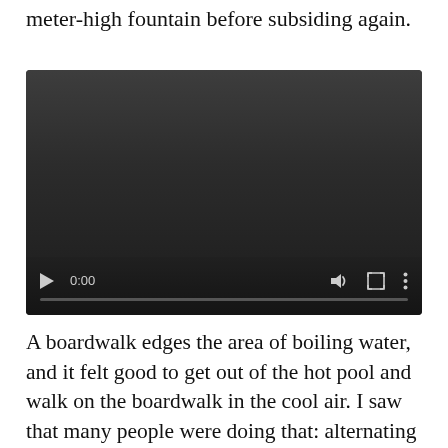meter-high fountain before subsiding again.
[Figure (screenshot): Embedded video player showing a dark/black video frame with playback controls at the bottom: play button, time display '0:00', volume icon, fullscreen icon, and more options icon. A progress bar is shown at the bottom of the player.]
A boardwalk edges the area of boiling water, and it felt good to get out of the hot pool and walk on the boardwalk in the cool air. I saw that many people were doing that: alternating